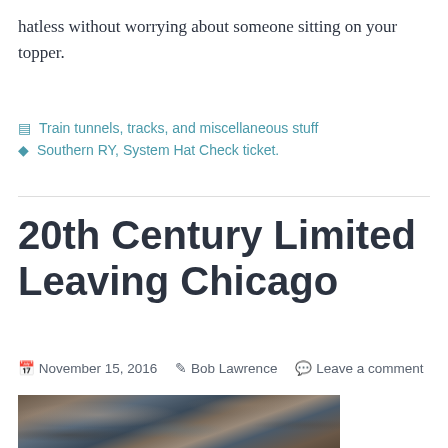hatless without worrying about someone sitting on your topper.
Train tunnels, tracks, and miscellaneous stuff
Southern RY, System Hat Check ticket.
20th Century Limited Leaving Chicago
November 15, 2016   Bob Lawrence   Leave a comment
[Figure (photo): Dramatic cloudy sky photograph, partially visible at bottom of page]